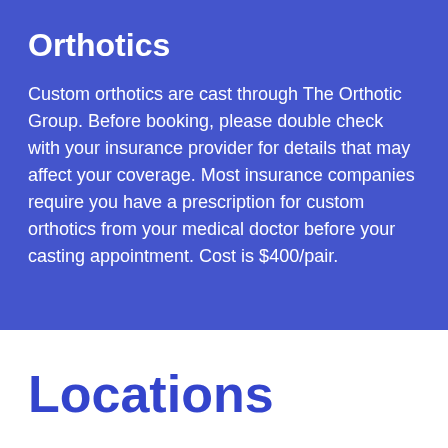Orthotics
Custom orthotics are cast through The Orthotic Group. Before booking, please double check with your insurance provider for details that may affect your coverage. Most insurance companies require you have a prescription for custom orthotics from your medical doctor before your casting appointment. Cost is $400/pair.
Locations
For patient safety, we continue to operate under strict